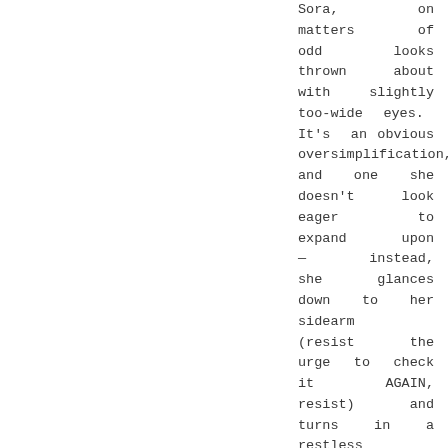Sora, on matters of odd looks thrown about with slightly too-wide eyes. It's an obvious oversimplification, and one she doesn't look eager to expand upon — instead, she glances down to her sidearm (resist the urge to check it AGAIN, resist) and turns in a restless circle, trying to resist the urge to see